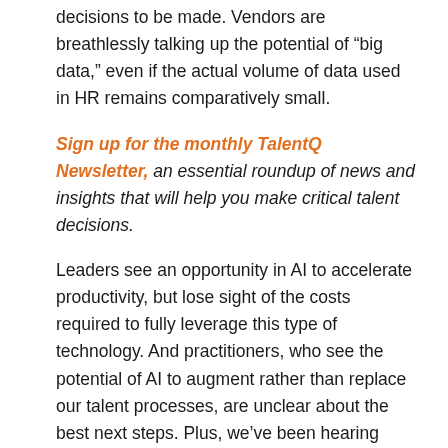decisions to be made. Vendors are breathlessly talking up the potential of “big data,” even if the actual volume of data used in HR remains comparatively small.
Sign up for the monthly TalentQ Newsletter, an essential roundup of news and insights that will help you make critical talent decisions.
Leaders see an opportunity in AI to accelerate productivity, but lose sight of the costs required to fully leverage this type of technology. And practitioners, who see the potential of AI to augment rather than replace our talent processes, are unclear about the best next steps. Plus, we’ve been hearing about the AI opportunity for more than a decade, but in many applications, the reality has yet to catch up to the hype.
Is there a case, then, for AI in HR? Absolutely. But it